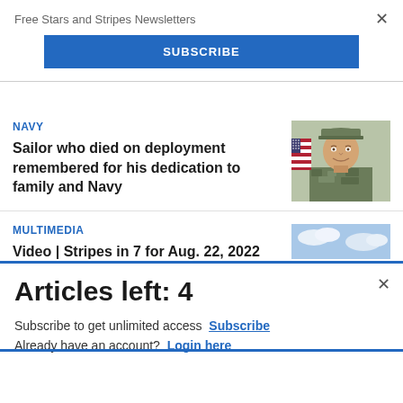Free Stars and Stripes Newsletters
SUBSCRIBE
NAVY
Sailor who died on deployment remembered for his dedication to family and Navy
[Figure (photo): Portrait photo of a Navy sailor in camouflage uniform and cap, smiling, with American flag in background]
MULTIMEDIA
Video | Stripes in 7 for Aug. 22, 2022
[Figure (photo): Aerial or wide-angle photo showing a large group of people in white uniforms gathered outdoors]
Articles left: 4
Subscribe to get unlimited access  Subscribe
Already have an account?  Login here